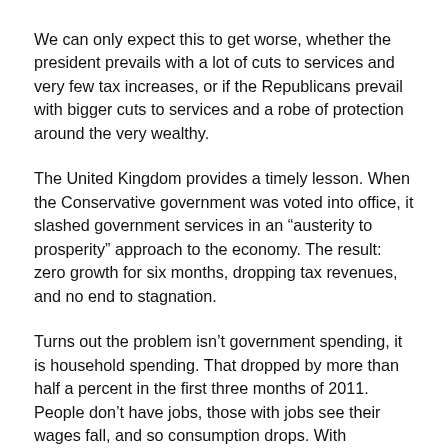We can only expect this to get worse, whether the president prevails with a lot of cuts to services and very few tax increases, or if the Republicans prevail with bigger cuts to services and a robe of protection around the very wealthy.
The United Kingdom provides a timely lesson. When the Conservative government was voted into office, it slashed government services in an “austerity to prosperity” approach to the economy. The result: zero growth for six months, dropping tax revenues, and no end to stagnation.
Turns out the problem isn’t government spending, it is household spending. That dropped by more than half a percent in the first three months of 2011. People don’t have jobs, those with jobs see their wages fall, and so consumption drops. With investors taking money overseas for new plants and production, the only thing to prime the economic pump is government services. When these get cut, the economy swoons.